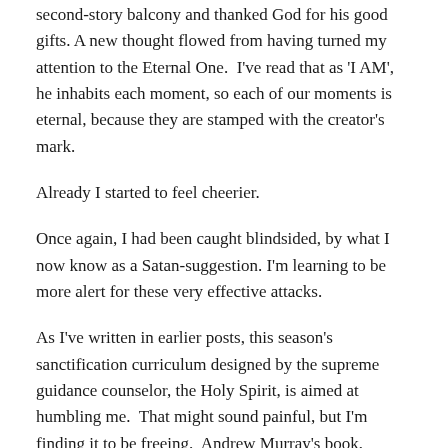second-story balcony and thanked God for his good gifts. A new thought flowed from having turned my attention to the Eternal One.  I've read that as 'I AM', he inhabits each moment, so each of our moments is eternal, because they are stamped with the creator's mark.
Already I started to feel cheerier.
Once again, I had been caught blindsided, by what I now know as a Satan-suggestion. I'm learning to be more alert for these very effective attacks.
As I've written in earlier posts, this season's sanctification curriculum designed by the supreme guidance counselor, the Holy Spirit, is aimed at humbling me.  That might sound painful, but I'm finding it to be freeing.  Andrew Murray's book, Humility and Absolute Surrender (assigned